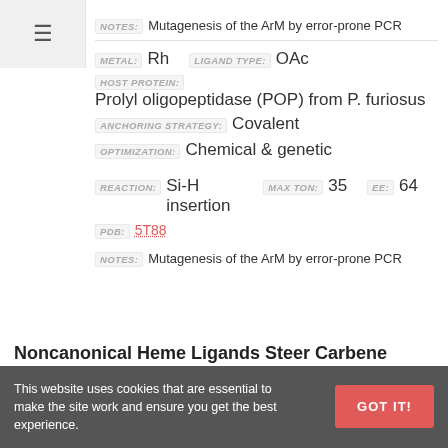NOTES: Mutagenesis of the ArM by error-prone PCR
METAL: Rh   LIGAND TYPE: OAc
HOST PROTEIN: Prolyl oligopeptidase (POP) from P. furiosus
ANCHORING STRATEGY: Covalent
OPTIMIZATION: Chemical & genetic
REACTION: Si-H insertion   MAX TON: 35   EE: 64
PDB: 5T88
NOTES: Mutagenesis of the ArM by error-prone PCR
Noncanonical Heme Ligands Steer Carbene Transfer Reactivity in an Artificial Metalloenzyme
This website uses cookies that are essential to make the site work and ensure you get the best experience.